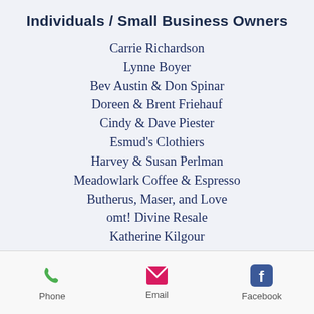Individuals / Small Business Owners
Carrie Richardson
Lynne Boyer
Bev Austin & Don Spinar
Doreen & Brent Friehauf
Cindy & Dave Piester
Esmud's Clothiers
Harvey & Susan Perlman
Meadowlark Coffee & Espresso
Butherus, Maser, and Love
omt! Divine Resale
Katherine Kilgour
Gomez Art Supply
Richard Moberly
Vicki & Dick Powell
Janice Walker
Phone  Email  Facebook